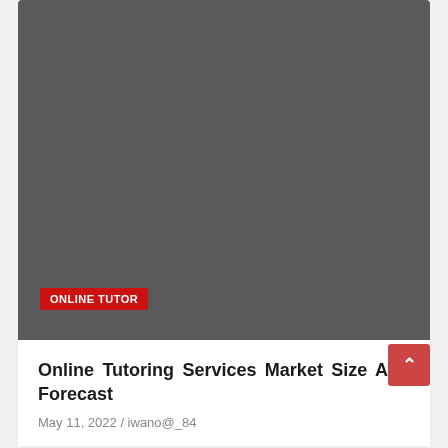[Figure (photo): Dark gray image placeholder for article thumbnail]
ONLINE TUTOR
Online Tutoring Services Market Size And Forecast
May 11, 2022 / iwano@_84
[Figure (photo): Dark gray image placeholder for second article thumbnail]